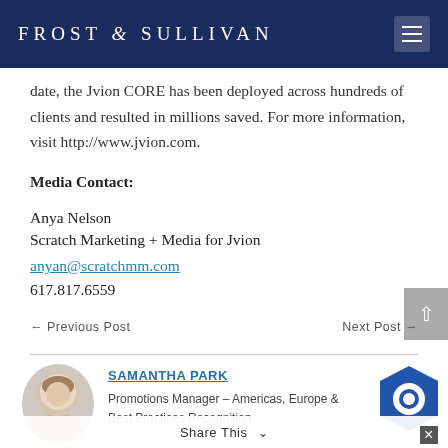FROST & SULLIVAN
date, the Jvion CORE has been deployed across hundreds of clients and resulted in millions saved. For more information, visit http://www.jvion.com.
Media Contact:
Anya Nelson
Scratch Marketing + Media for Jvion
anyan@scratchmm.com
617.817.6559
← Previous Post
Next Post →
SAMANTHA PARK
Promotions Manager – Americas, Europe & Best Practices Recognition
Share This